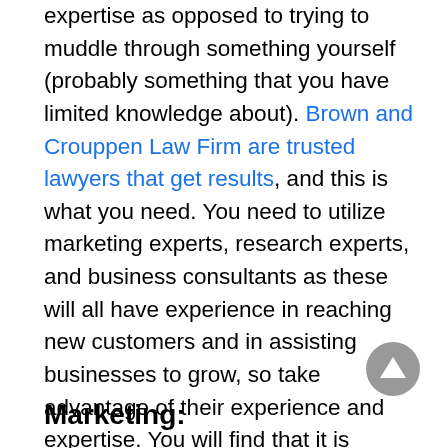expertise as opposed to trying to muddle through something yourself (probably something that you have limited knowledge about). Brown and Crouppen Law Firm are trusted lawyers that get results, and this is what you need. You need to utilize marketing experts, research experts, and business consultants as these will all have experience in reaching new customers and in assisting businesses to grow, so take advantage of their experience and expertise. You will find that it is cheaper and more time-efficient to hire experts in their relevant fields than to try and do everything yourself within a limited timeframe.
[Figure (other): Gray circular scroll-to-top button with upward-pointing triangle arrow]
Marketing: